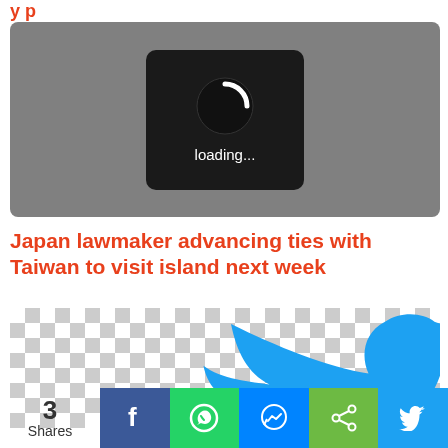y p
[Figure (screenshot): Video thumbnail with grey background showing a loading spinner and 'loading...' text on a dark rounded rectangle]
Japan lawmaker advancing ties with Taiwan to visit island next week
[Figure (illustration): Twitter bird logo on checkered transparent background]
3 Shares
[Figure (infographic): Social share buttons: Facebook, WhatsApp, Messenger, Share, Twitter]